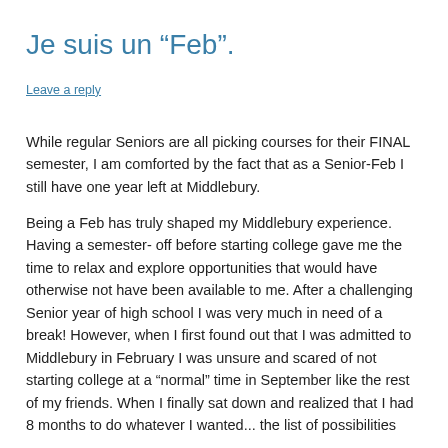Je suis un “Feb”.
Leave a reply
While regular Seniors are all picking courses for their FINAL semester, I am comforted by the fact that as a Senior-Feb I still have one year left at Middlebury.
Being a Feb has truly shaped my Middlebury experience. Having a semester- off before starting college gave me the time to relax and explore opportunities that would have otherwise not have been available to me. After a challenging Senior year of high school I was very much in need of a break! However, when I first found out that I was admitted to Middlebury in February I was unsure and scared of not starting college at a “normal” time in September like the rest of my friends. When I finally sat down and realized that I had 8 months to do whatever I wanted... the list of possibilities